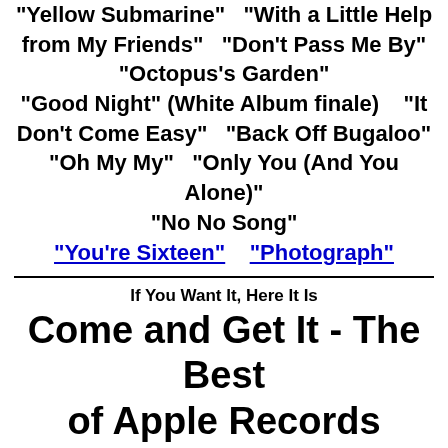"Yellow Submarine"   "With a Little Help from My Friends"   "Don't Pass Me By"   "Octopus's Garden"   "Good Night" (White Album finale)   "It Don't Come Easy"   "Back Off Bugaloo"   "Oh My My"   "Only You (And You Alone)"   "No No Song"
"You're Sixteen"   "Photograph"
If You Want It, Here It Is
Come and Get It - The Best of Apple Records